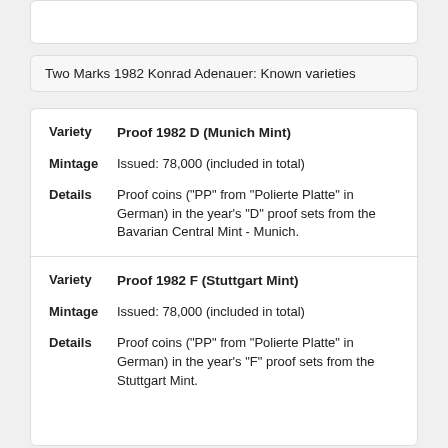Two Marks 1982 Konrad Adenauer: Known varieties
| Field | Value |
| --- | --- |
| Variety | Proof 1982 D (Munich Mint) |
| Mintage | Issued: 78,000 (included in total) |
| Details | Proof coins ("PP" from "Polierte Platte" in German) in the year's "D" proof sets from the Bavarian Central Mint - Munich. |
| Variety | Proof 1982 F (Stuttgart Mint) |
| Mintage | Issued: 78,000 (included in total) |
| Details | Proof coins ("PP" from "Polierte Platte" in German) in the year's "F" proof sets from the Stuttgart Mint. |